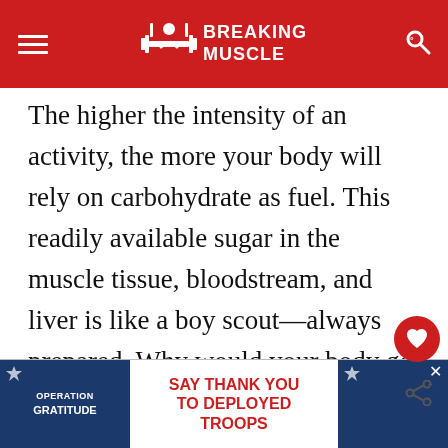Breaking Muscle
The higher the intensity of an activity, the more your body will rely on carbohydrate as fuel. This readily available sugar in the muscle tissue, bloodstream, and liver is like a boy scout—always prepared. Why would your body go to all the trouble to burn fat, when it can just tap into some quick-burning carbs?
This doesn't mean that high intensity exercise avoids burning fat for fuel entirely. It's just that the percentage of fat used for energy is small. The low...age-wise...ild just
[Figure (other): Advertisement banner: Operation Gratitude - Say Thank You To Deployed Troops]